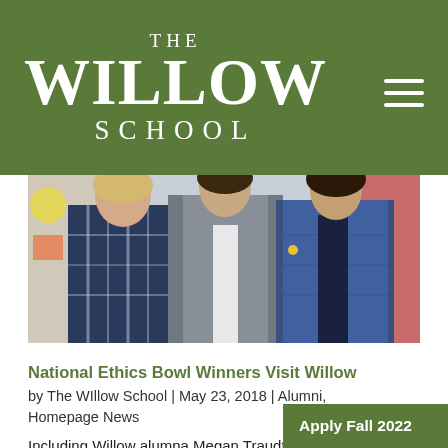THE WILLOW SCHOOL
[Figure (photo): Three people standing together in front of colorful artwork; one in plaid top, one in grey jacket, one in denim jacket]
National Ethics Bowl Winners Visit Willow
by The WIllow School | May 23, 2018 | Alumni, Homepage News
Including Willow alumna Megan Traudt! Willow's emphasis on virtues and ethics serves as a moral foundation for students throughout their lives. Just ask Willow alumna Megan Traudt! On May 16, Megan returned…
Apply Fall 2022